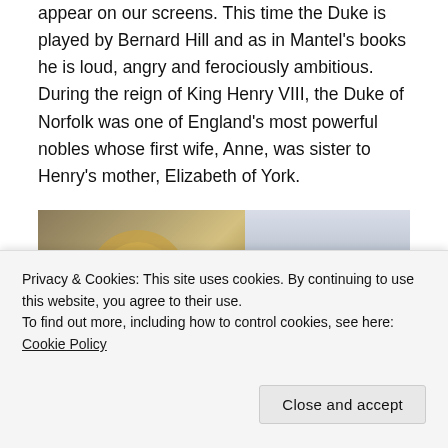appear on our screens. This time the Duke is played by Bernard Hill and as in Mantel’s books he is loud, angry and ferociously ambitious. During the reign of King Henry VIII, the Duke of Norfolk was one of England’s most powerful nobles whose first wife, Anne, was sister to Henry’s mother, Elizabeth of York.
[Figure (photo): A photograph showing ornate architectural details including a gilded decorative element and wallpaper on the left, and an outdoor scene with a dark vase or urn against a light sky on the right.]
Privacy & Cookies: This site uses cookies. By continuing to use this website, you agree to their use.
To find out more, including how to control cookies, see here: Cookie Policy
Close and accept